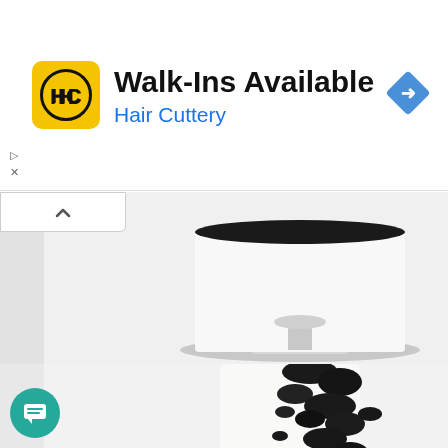[Figure (infographic): Hair Cuttery advertisement banner with yellow logo showing HC letters, text 'Walk-Ins Available' and 'Hair Cuttery' in blue, blue diamond navigation icon on the right]
[Figure (photo): Partial top view of a white cake with dark (black/charcoal) textured decoration on a white pedestal stand, white background]
[Figure (photo): White tiered cake decorated with rough black charcoal or dark crumble texture cascading down the side, on white background]